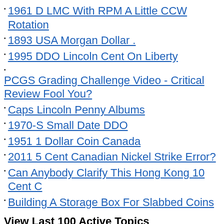1961 D LMC With RPM A Little CCW Rotation
1893 USA Morgan Dollar .
1995 DDO Lincoln Cent On Liberty
PCGS Grading Challenge Video - Critical Review Fool You?
Caps Lincoln Penny Albums
1970-S Small Date DDO
1951 1 Dollar Coin Canada
2011 5 Cent Canadian Nickel Strike Error?
Can Anybody Clarify This Hong Kong 10 Cent C
Building A Storage Box For Slabbed Coins
View Last 100 Active Topics
2022 US Coins In Circulation